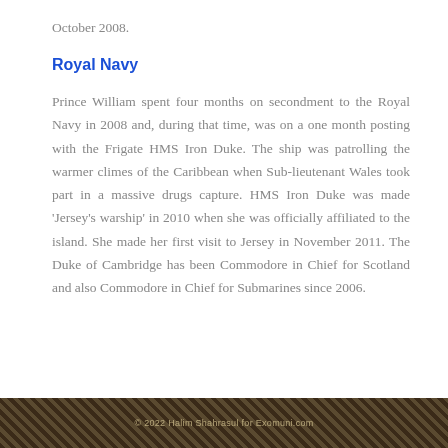October 2008.
Royal Navy
Prince William spent four months on secondment to the Royal Navy in 2008 and, during that time, was on a one month posting with the Frigate HMS Iron Duke. The ship was patrolling the warmer climes of the Caribbean when Sub-lieutenant Wales took part in a massive drugs capture. HMS Iron Duke was made 'Jersey's warship' in 2010 when she was officially affiliated to the island. She made her first visit to Jersey in November 2011. The Duke of Cambridge has been Commodore in Chief for Scotland and also Commodore in Chief for Submarines since 2006.
© 2022 Halim Shahrasul for Exomuni.com